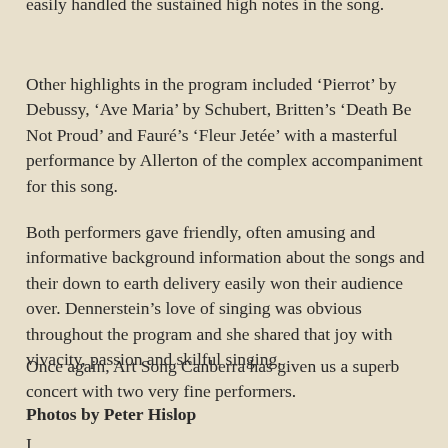easily handled the sustained high notes in the song.
Other highlights in the program included ‘Pierrot’ by Debussy, ‘Ave Maria’ by Schubert, Britten’s ‘Death Be Not Proud’ and Fauré’s ‘Fleur Jetée’ with a masterful performance by Allerton of the complex accompaniment for this song.
Both performers gave friendly, often amusing and informative background information about the songs and their down to earth delivery easily won their audience over. Dennerstein’s love of singing was obvious throughout the program and she shared that joy with vivacity, passion and skilful singing.
Once again, Art Song Canberra has given us a superb concert with two very fine performers.
Photos by Peter Hislop
I...